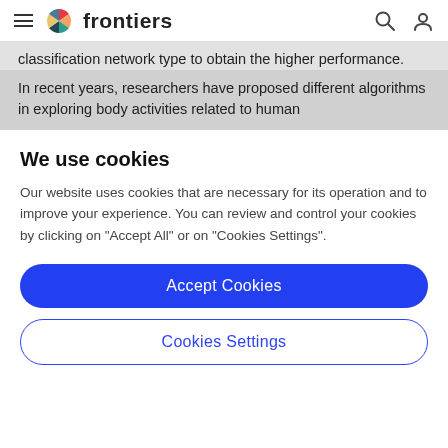frontiers
classification network type to obtain the higher performance.
In recent years, researchers have proposed different algorithms in exploring body activities related to human
We use cookies
Our website uses cookies that are necessary for its operation and to improve your experience. You can review and control your cookies by clicking on "Accept All" or on "Cookies Settings".
Accept Cookies
Cookies Settings